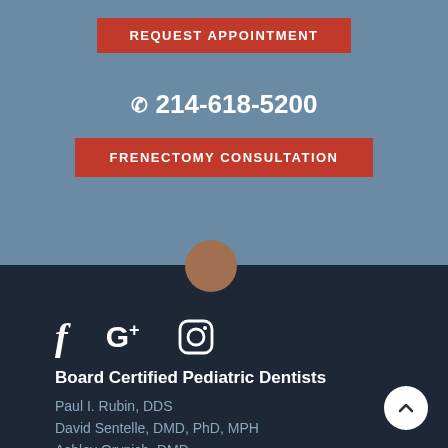REQUEST APPOINTMENT
214-618-5200
FRENECTOMY CONSULTATION
[Figure (illustration): Circular avatar photo partially overlapping the blue and dark sections]
[Figure (illustration): Social media icons: Facebook (f), Google+ (G+), Instagram (camera icon)]
Board Certified Pediatric Dentists
Paul I. Rubin, DDS
David Sentelle, DMD, PhD, MPH
Ashley Orynich, DMD